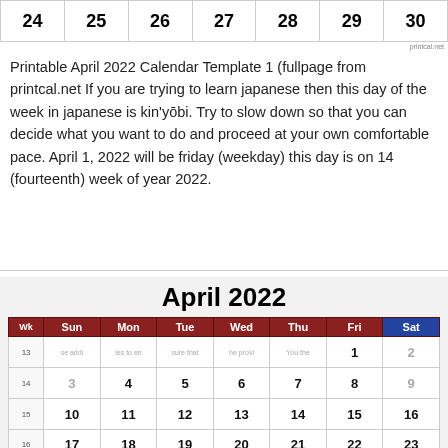| 24 | 25 | 26 | 27 | 28 | 29 | 30 |
| --- | --- | --- | --- | --- | --- | --- |
|  |
printcal.net
Printable April 2022 Calendar Template 1 (fullpage from printcal.net If you are trying to learn japanese then this day of the week in japanese is kin'yōbi. Try to slow down so that you can decide what you want to do and proceed at your own comfortable pace. April 1, 2022 will be friday (weekday) this day is on 14 (fourteenth) week of year 2022.
April 2022
| Wk | Sun | Mon | Tue | Wed | Thu | Fri | Sat |
| --- | --- | --- | --- | --- | --- | --- | --- |
| 13 |  |  |  |  |  | 1 | 2 |
| 14 | 3 | 4 | 5 | 6 | 7 | 8 | 9 |
| 15 | 10 | 11 | 12 | 13 | 14 | 15 | 16 |
| 16 | 17 | 18 | 19 | 20 | 21 | 22 | 23 |